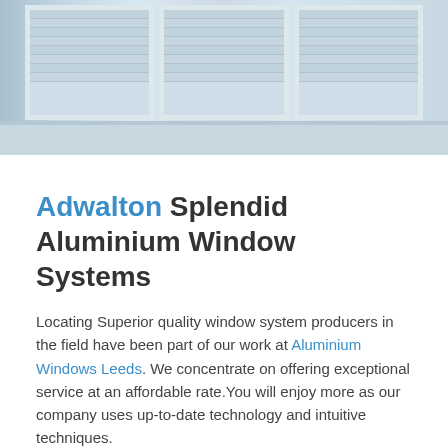[Figure (photo): Photograph of aluminium windows with horizontal blinds, viewed from outside/below, showing three window panes with white frames and a sill.]
Adwalton Splendid Aluminium Window Systems
Locating Superior quality window system producers in the field have been part of our work at Aluminium Windows Leeds. We concentrate on offering exceptional service at an affordable rate.You will enjoy more as our company uses up-to-date technology and intuitive techniques.
You will enjoy more as our company uses up-to-date technology and intuitive techniques. When You Need Aluminium Windows Leeds Aluminium Window Systems If you are unsure that your windows need servicing, then why not give us a call so we can assist you in this decision.